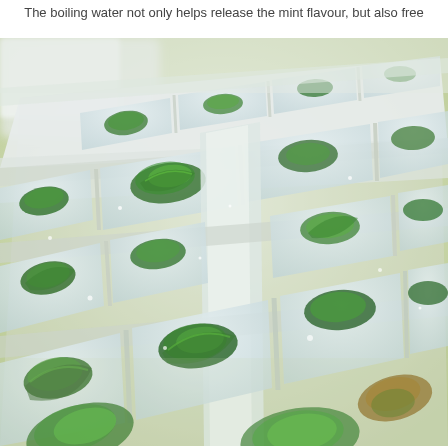The boiling water not only helps release the mint flavour, but also free...
[Figure (photo): Close-up photograph of an ice cube tray containing multiple compartments filled with mint leaves frozen in clear ice/water. The tray is white/translucent plastic and the mint leaves appear bright green. The image is taken at an angle showing the depth of the tray compartments.]